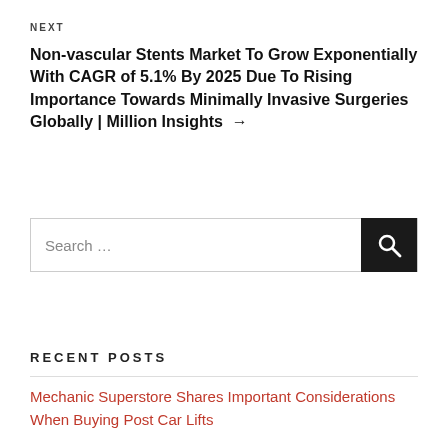NEXT
Non-vascular Stents Market To Grow Exponentially With CAGR of 5.1% By 2025 Due To Rising Importance Towards Minimally Invasive Surgeries Globally | Million Insights →
Search …
RECENT POSTS
Mechanic Superstore Shares Important Considerations When Buying Post Car Lifts